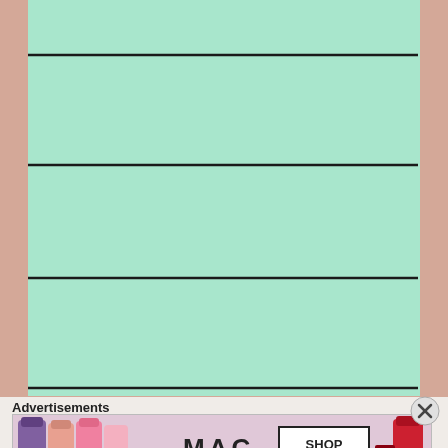[Figure (other): Mint green content area with four horizontal black dividing lines creating sections]
Advertisements
Advertisements
[Figure (other): MAC cosmetics advertisement banner showing lipsticks in purple, pink, and red colors with MAC logo and SHOP NOW button]